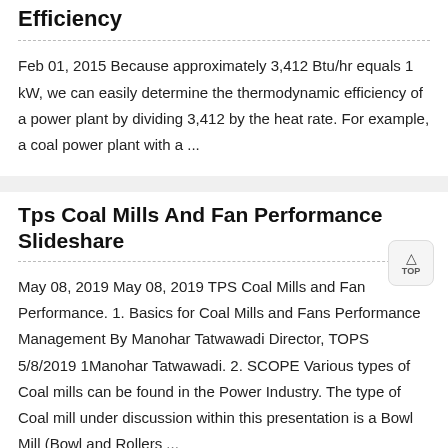Efficiency
Feb 01, 2015 Because approximately 3,412 Btu/hr equals 1 kW, we can easily determine the thermodynamic efficiency of a power plant by dividing 3,412 by the heat rate. For example, a coal power plant with a ...
Tps Coal Mills And Fan Performance Slideshare
May 08, 2019 May 08, 2019 TPS Coal Mills and Fan Performance. 1. Basics for Coal Mills and Fans Performance Management By Manohar Tatwawadi Director, TOPS 5/8/2019 1Manohar Tatwawadi. 2. SCOPE Various types of Coal mills can be found in the Power Industry. The type of Coal mill under discussion within this presentation is a Bowl Mill (Bowl and Rollers ...
Pulverizer Fineness And Capacity Enhancements At